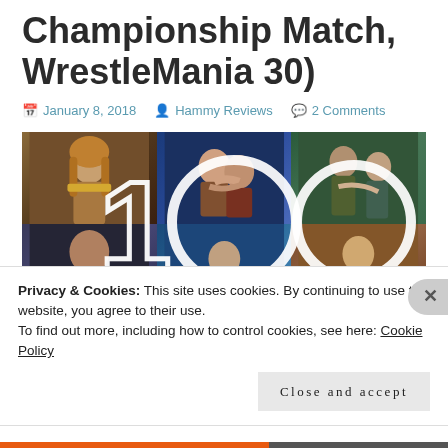Championship Match, WrestleMania 30)
January 8, 2018   Hammy Reviews   2 Comments
[Figure (photo): Collage of 6 WWE wrestling photos arranged in a 3x2 grid with '100' overlaid in white text/circles]
Privacy & Cookies: This site uses cookies. By continuing to use this website, you agree to their use.
To find out more, including how to control cookies, see here: Cookie Policy
Close and accept